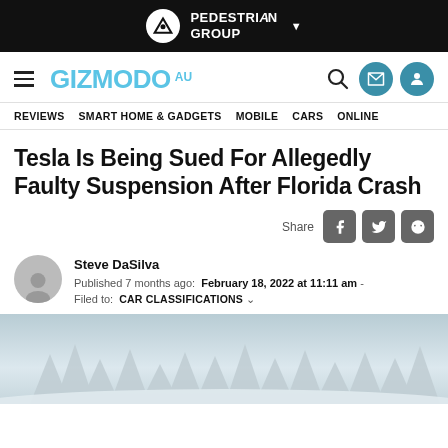PEDESTRIAN GROUP
GIZMODO AU — REVIEWS  SMART HOME & GADGETS  MOBILE  CARS  ONLINE
Tesla Is Being Sued For Allegedly Faulty Suspension After Florida Crash
Share
Steve DaSilva
Published 7 months ago:  February 18, 2022 at 11:11 am -
Filed to:  CAR CLASSIFICATIONS
[Figure (photo): Snow-covered landscape with trees in the background, black and white / desaturated tones]